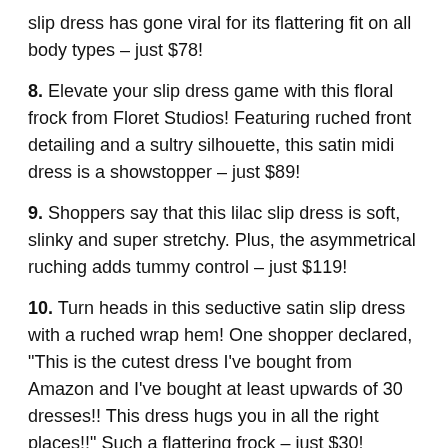slip dress has gone viral for its flattering fit on all body types – just $78!
8. Elevate your slip dress game with this floral frock from Floret Studios! Featuring ruched front detailing and a sultry silhouette, this satin midi dress is a showstopper – just $89!
9. Shoppers say that this lilac slip dress is soft, slinky and super stretchy. Plus, the asymmetrical ruching adds tummy control – just $119!
10. Turn heads in this seductive satin slip dress with a ruched wrap hem! One shopper declared, "This is the cutest dress I've bought from Amazon and I've bought at least upwards of 30 dresses!! This dress hugs you in all the right places!!" Such a flattering frock – just $30!
11. One review called this cutout satin slip dress "flattering and